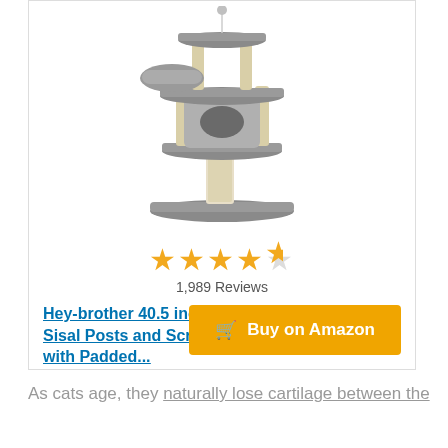[Figure (photo): Cat tree product photo showing a multi-level gray cat tower with sisal posts, scratching board, hammock, and condo/hideaway]
★★★★½ 1,989 Reviews
Hey-brother 40.5 inches Cat Tree with Full Sisal Posts and Scratching Board, Cat Tower with Padded...
Buy on Amazon
As cats age, they naturally lose cartilage between the